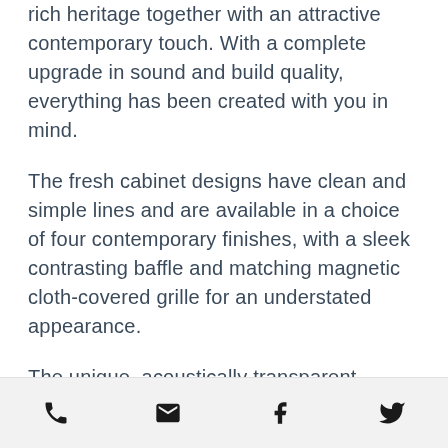rich heritage together with an attractive contemporary touch. With a complete upgrade in sound and build quality, everything has been created with you in mind.
The fresh cabinet designs have clean and simple lines and are available in a choice of four contemporary finishes, with a sleek contrasting baffle and matching magnetic cloth-covered grille for an understated appearance.
The unique, acoustically transparent hexagonal dispersion patterns on the tweeter covers give Bronze a premium feel and allow light to catch the
phone | email | facebook | twitter